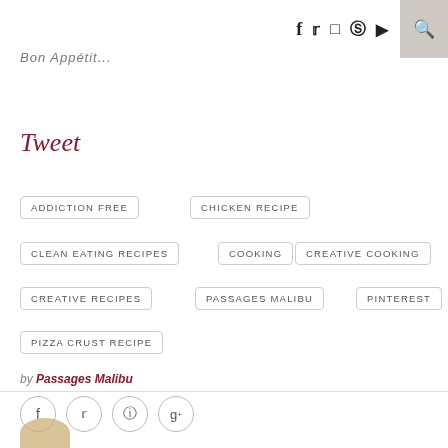f  &#64;  camera  pin  play  search
Bon Appétit...
Tweet
ADDICTION FREE
CHICKEN RECIPE
CLEAN EATING RECIPES
COOKING
CREATIVE COOKING
CREATIVE RECIPES
PASSAGES MALIBU
PINTEREST
PIZZA CRUST RECIPE
by Passages Malibu